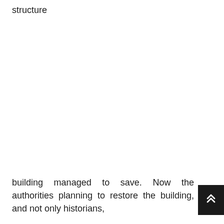structure
building managed to save. Now the authorities planning to restore the building, and not only historians,